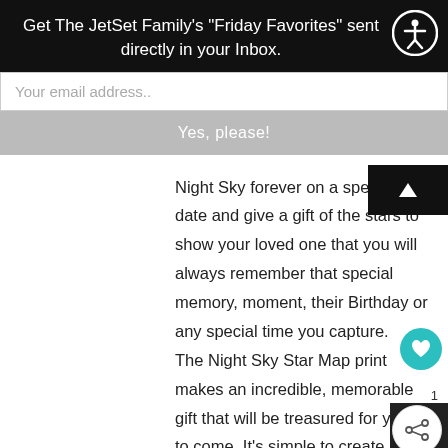Get The JetSet Family's "Friday Favorites" sent directly in your Inbox.
Your email address..
Yes, please!
Night Sky forever on a specific date and give a gift of the stars to show your loved one that you will always remember that special memory, moment, their Birthday or any special time you capture. The Night Sky Star Map print makes an incredible, memorable gift that will be treasured for years to come. It's simple to create an 18″ x 24″ star map of the night your heart skipped a beat. Hang one in your home to deck the walls, and